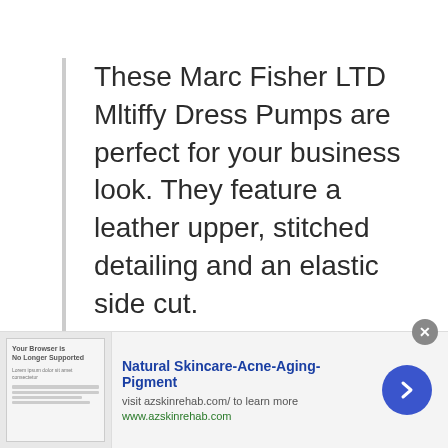These Marc Fisher LTD Mltiffy Dress Pumps are perfect for your business look. They feature a leather upper, stitched detailing and an elastic side cut.
The Marc Fisher LTD Women's Mltiffy Dress Pump is a great addition to any wardrobe. With a color selection that
[Figure (other): Advertisement banner for Natural Skincare-Acne-Aging-Pigment at azskinrehab.com with a close button and navigation arrow]